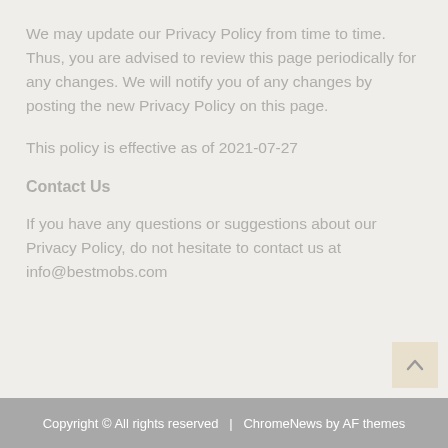We may update our Privacy Policy from time to time. Thus, you are advised to review this page periodically for any changes. We will notify you of any changes by posting the new Privacy Policy on this page.
This policy is effective as of 2021-07-27
Contact Us
If you have any questions or suggestions about our Privacy Policy, do not hesitate to contact us at info@bestmobs.com
Copyright © All rights reserved  |  ChromeNews by AF themes